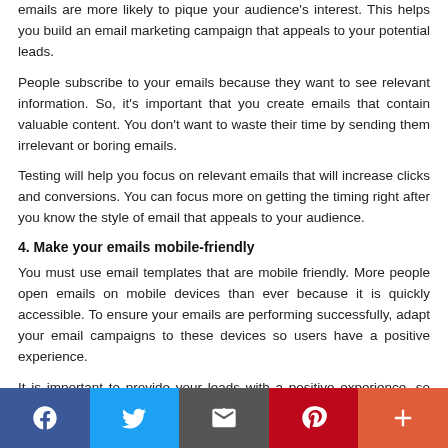emails are more likely to pique your audience's interest. This helps you build an email marketing campaign that appeals to your potential leads.
People subscribe to your emails because they want to see relevant information. So, it's important that you create emails that contain valuable content. You don't want to waste their time by sending them irrelevant or boring emails.
Testing will help you focus on relevant emails that will increase clicks and conversions. You can focus more on getting the timing right after you know the style of email that appeals to your audience.
4. Make your emails mobile-friendly
You must use email templates that are mobile friendly. More people open emails on mobile devices than ever because it is quickly accessible. To ensure your emails are performing successfully, adapt your email campaigns to these devices so users have a positive experience.
It is important to provide your leads with a positive experience, so they